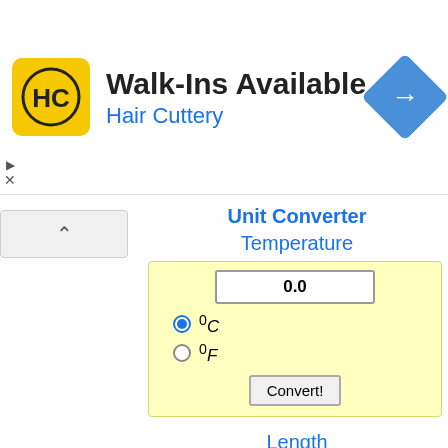[Figure (screenshot): Advertisement banner for Hair Cuttery with logo, 'Walk-Ins Available' text, and a blue diamond arrow icon]
Unit Converter
Temperature
0.0
0C (selected)
0F
Convert!
Length
1.0
m (selected)
km
in
ft